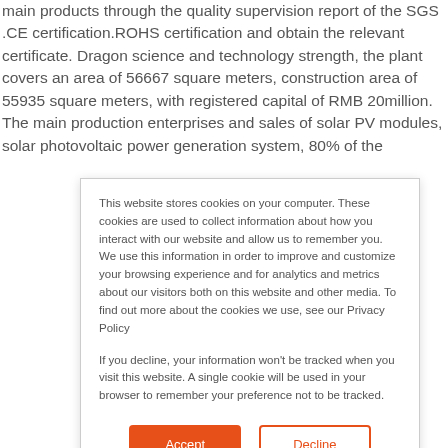main products through the quality supervision report of the SGS .CE certification.ROHS certification and obtain the relevant certificate. Dragon science and technology strength, the plant covers an area of 56667 square meters, construction area of 55935 square meters, with registered capital of RMB 20million. The main production enterprises and sales of solar PV modules, solar photovoltaic power generation system, 80% of the
This website stores cookies on your computer. These cookies are used to collect information about how you interact with our website and allow us to remember you. We use this information in order to improve and customize your browsing experience and for analytics and metrics about our visitors both on this website and other media. To find out more about the cookies we use, see our Privacy Policy
If you decline, your information won't be tracked when you visit this website. A single cookie will be used in your browser to remember your preference not to be tracked.
Accept
Decline